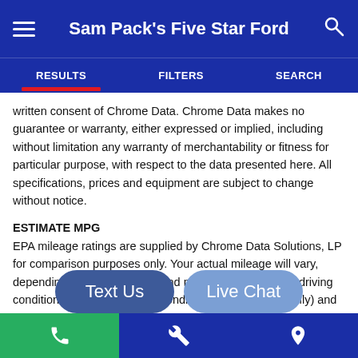Sam Pack's Five Star Ford
RESULTS | FILTERS | SEARCH
written consent of Chrome Data. Chrome Data makes no guarantee or warranty, either expressed or implied, including without limitation any warranty of merchantability or fitness for particular purpose, with respect to the data presented here. All specifications, prices and equipment are subject to change without notice.
ESTIMATE MPG
EPA mileage ratings are supplied by Chrome Data Solutions, LP for comparison purposes only. Your actual mileage will vary, depending on how you drive and maintain your vehicle, driving conditions, battery pack age/condition (hybrid models only) and other factors.
PRICING
Vehicle pricing is believed to be accurate. Tax, title, license are not included in prices shown unless otherwise stated.